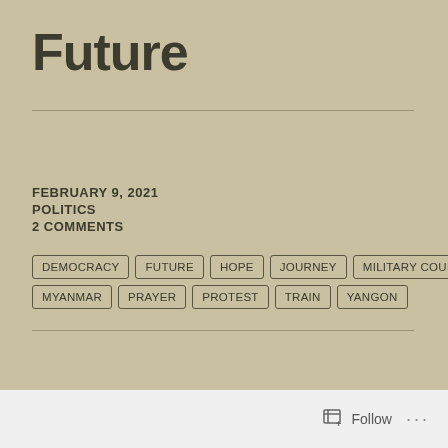Future
FEBRUARY 9, 2021
POLITICS
2 COMMENTS
DEMOCRACY
FUTURE
HOPE
JOURNEY
MILITARY COUP
MYANMAR
PRAYER
PROTEST
TRAIN
YANGON
Follow